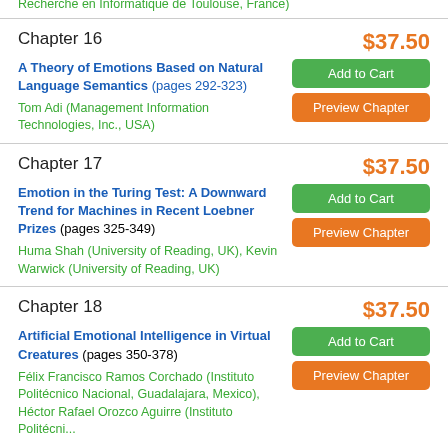Recherche en Informatique de Toulouse, France)
Chapter 16
$37.50
A Theory of Emotions Based on Natural Language Semantics (pages 292-323)
Tom Adi (Management Information Technologies, Inc., USA)
Chapter 17
$37.50
Emotion in the Turing Test: A Downward Trend for Machines in Recent Loebner Prizes (pages 325-349)
Huma Shah (University of Reading, UK), Kevin Warwick (University of Reading, UK)
Chapter 18
$37.50
Artificial Emotional Intelligence in Virtual Creatures (pages 350-378)
Félix Francisco Ramos Corchado (Instituto Politécnico Nacional, Guadalajara, Mexico), Héctor Rafael Orozco Aguirre (Instituto Politécnico...)